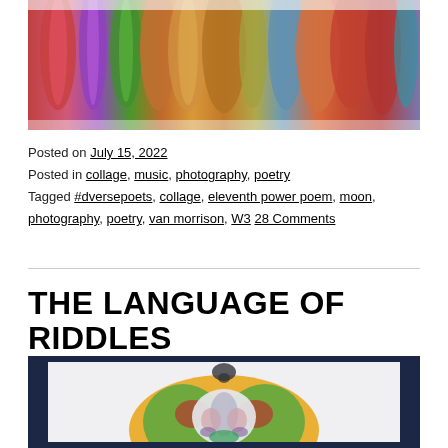[Figure (photo): Colorful abstract collage image with elongated shapes in red, purple, green, orange, blue tones against a light background]
Posted on July 15, 2022
Posted in collage, music, photography, poetry
Tagged #dversepoets, collage, eleventh power poem, moon, photography, poetry, van morrison, W3 28 Comments
THE LANGUAGE OF RIDDLES
[Figure (photo): Photograph of an inkblot art piece in a dark frame, showing a symmetric colorful inkblot with yellow, green, red, and blue patterns on white paper against a dark blue/navy background]